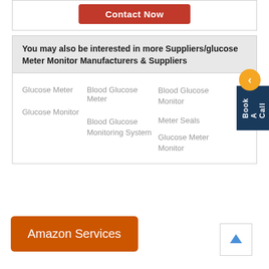[Figure (other): Contact Now button (red/dark red)]
You may also be interested in more Suppliers/glucose Meter Monitor Manufacturers & Suppliers
Glucose Meter
Blood Glucose Meter
Blood Glucose Monitor
Glucose Monitor
Blood Glucose Monitoring System
Meter Seals
Glucose Meter Monitor
[Figure (other): Book A Call vertical tab with orange back arrow circle]
[Figure (other): Amazon Services orange button]
[Figure (other): Up arrow scroll-to-top button]